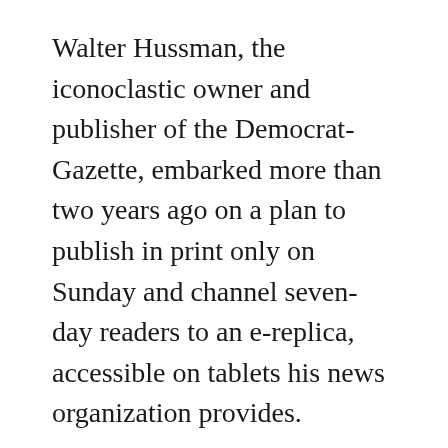Walter Hussman, the iconoclastic owner and publisher of the Democrat-Gazette, embarked more than two years ago on a plan to publish in print only on Sunday and channel seven-day readers to an e-replica, accessible on tablets his news organization provides.
It was a lengthy trial and error process, Hussman explained to me. Lots of both were made possible because the Democrat-Gazette is one of few papers that still circulates